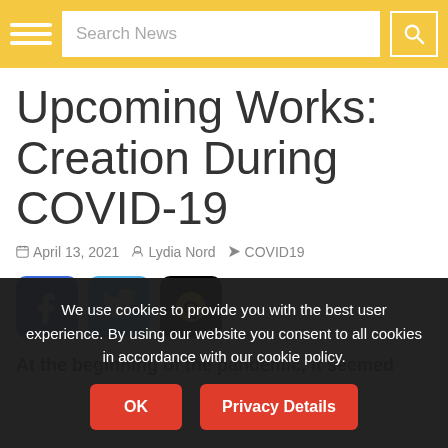Search News
Upcoming Works: Creation During COVID-19
April 13, 2021  Lydia Nord  COVID19
[Figure (other): Social sharing icons: Facebook (blue), Twitter (light blue), Qzone (black with yellow icon)]
At the beginning of the pandemic, it seemed
We use cookies to provide you with the best user experience. By using our website you consent to all cookies in accordance with our cookie policy.